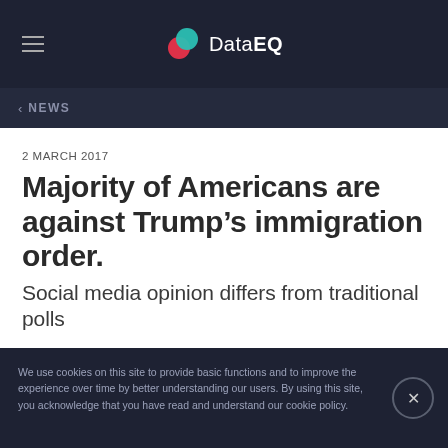DataEQ
< NEWS
2 MARCH 2017
Majority of Americans are against Trump’s immigration order.
Social media opinion differs from traditional polls
We use cookies on this site to provide basic functions and to improve the experience over time by better understanding our users. By using this site, you acknowledge that you have read and understand our cookie policy.